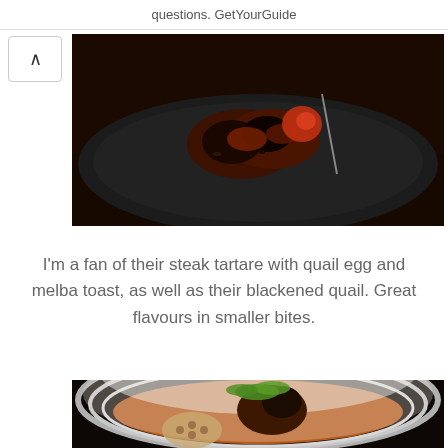questions. GetYourGuide
[Figure (photo): Dark plate with blackened quail pieces, glazed and charred, on a dark background]
I'm a fan of their steak tartare with quail egg and melba toast, as well as their blackened quail. Great flavours in smaller bites.
[Figure (photo): White bowl with braised poultry leg in orange-brown sauce, lotus root slices, and fresh cilantro garnish]